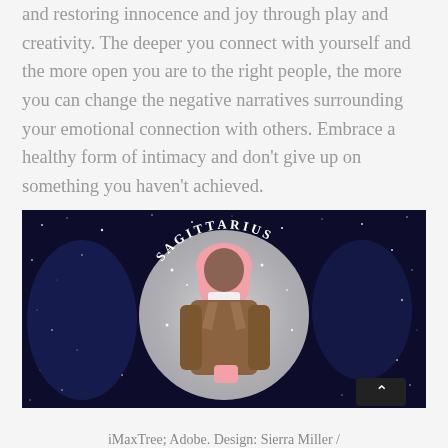and restoring innocence and joy through play and creativity. The deeper you connect with yourself and the more open you are to the right people, the more you can change the negative narratives surrounding your emotional connection with others. Embrace a healthy form of intimacy and don't give up on something you haven't achieved.
[Figure (photo): A woman with pink hair wearing a brown fur coat, smiling, posed in front of a large glittery silver circle on a dark starry night sky background. The word 'SAGITTARIUS' is written in an arc on the circle.]
iMaxTree; Adobe. Design: Sierra Miller /